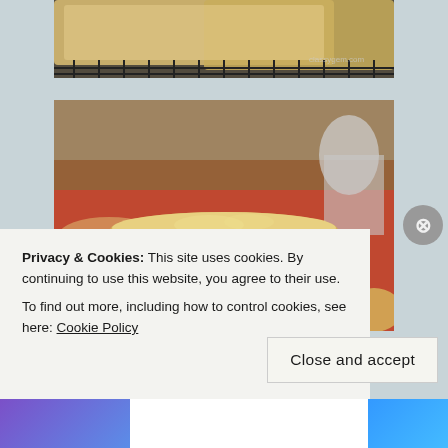[Figure (photo): Photo of sugar cookies on a wire cooling rack, viewed from above, partially cropped at top]
[Figure (photo): Photo of a stack of flat sugar cookies on a small wire rack on a reddish-orange surface, with more cookies blurred in background]
Privacy & Cookies: This site uses cookies. By continuing to use this website, you agree to their use.
To find out more, including how to control cookies, see here: Cookie Policy
Close and accept